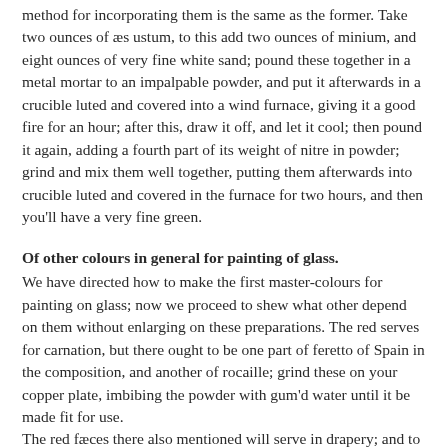method for incorporating them is the same as the former. Take two ounces of æs ustum, to this add two ounces of minium, and eight ounces of very fine white sand; pound these together in a metal mortar to an impalpable powder, and put it afterwards in a crucible luted and covered into a wind furnace, giving it a good fire for an hour; after this, draw it off, and let it cool; then pound it again, adding a fourth part of its weight of nitre in powder; grind and mix them well together, putting them afterwards into crucible luted and covered in the furnace for two hours, and then you'll have a very fine green.
Of other colours in general for painting of glass.
We have directed how to make the first master-colours for painting on glass; now we proceed to shew what other depend on them without enlarging on these preparations. The red serves for carnation, but there ought to be one part of feretto of Spain in the composition, and another of rocaille; grind these on your copper plate, imbibing the powder with gum'd water until it be made fit for use. The red fæces there also mentioned will serve in drapery; and to describe timber work, trunks of trees, hair, brick and